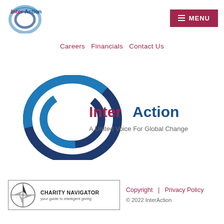InterAction logo | MENU button
Careers  Financials  Contact Us
[Figure (logo): InterAction logo large — circular blue swoosh rings with 'InterAction' in dark red and 'A United Voice For Global Change' tagline in grey]
[Figure (logo): Charity Navigator badge — compass rose icon with 'CHARITY NAVIGATOR your guide to intelligent giving']
Copyright | Privacy Policy © 2022 InterAction